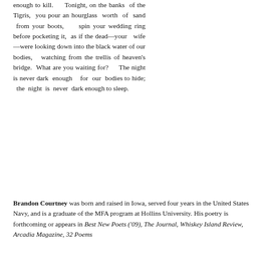enough to kill.    Tonight, on the banks  of the Tigris,  you pour an hourglass  worth  of  sand  from your boots,    spin your wedding ring before pocketing it,  as if the dead—your   wife—were looking down into the black water of our bodies,   watching from the trellis of heaven's bridge.  What are you waiting for?    The night is never dark  enough   for  our  bodies to hide;   the  night  is  never  dark enough to sleep.
Brandon Courtney was born and raised in Iowa, served four years in the United States Navy, and is a graduate of the MFA program at Hollins University. His poetry is forthcoming or appears in Best New Poets ('09), The Journal, Whiskey Island Review, Arcadia Magazine, 32 Poems